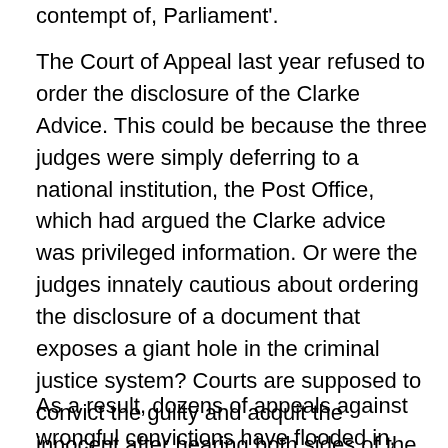contempt of, Parliament'.
The Court of Appeal last year refused to order the disclosure of the Clarke Advice. This could be because the three judges were simply deferring to a national institution, the Post Office, which had argued the Clarke advice was privileged information. Or were the judges innately cautious about ordering the disclosure of a document that exposes a giant hole in the criminal justice system? Courts are supposed to convict the guilty and acquit the innocent after hearing both sides of the argument. In fact courts across the country accepted the flawed evidence of the corporate Post Office and Fujitsu and gave little weight – and indeed rejected – the Horizon complaints of hundreds of individual sub-postmasters of integrity.
As a result, dozens of appeals against wrongful convictions have flooded in, bringing evidence of...